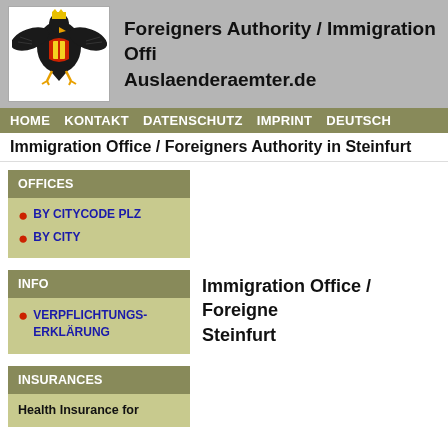[Figure (logo): Coat of arms / heraldic logo with eagle and colorful shield]
Foreigners Authority / Immigration Office
Auslaenderaemter.de
HOME  KONTAKT  DATENSCHUTZ  IMPRINT  DEUTSCH
Immigration Office / Foreigners Authority in Steinfurt
OFFICES
BY CITYCODE PLZ
BY CITY
INFO
VERPFLICHTUNGS-ERKLÄRUNG
INSURANCES
Health Insurance for
Immigration Office / Foreigners Authority in Steinfurt